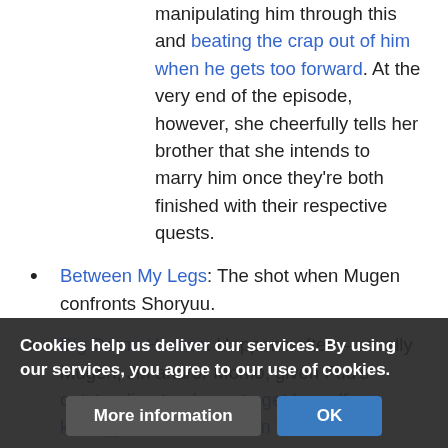manipulating him through this and beating the crap out of him when he gets too forward. At the very end of the episode, however, she cheerfully tells her brother that she intends to marry him once they're both finished with their respective quests.
Between My Legs: The shot when Mugen confronts Shoryuu.
Big Damn Heroes: Happens often—usually Mugen, Jin and/or Momo, given Fuu's outstanding tendency to get herself kidnapped or otherwise in trouble.
  • Jin is a particularly notable example in episode 25.
Big Eater: Arguably all three of them, but especially
Big No: From a minor character in a later episode
Big OMG: The priest from episode 19 screams this
Cookies help us deliver our services. By using our services, you agree to our use of cookies.